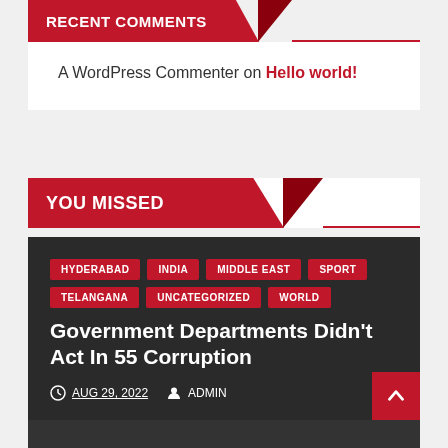Recent Comments
A WordPress Commenter on Hello world!
YOU MISSED
HYDERABAD  INDIA  MIDDLE EAST  SPORT  TELANGANA  UNCATEGORIZED  WORLD
Government Departments Didn't Act In 55 Corruption
AUG 29, 2022   ADMIN